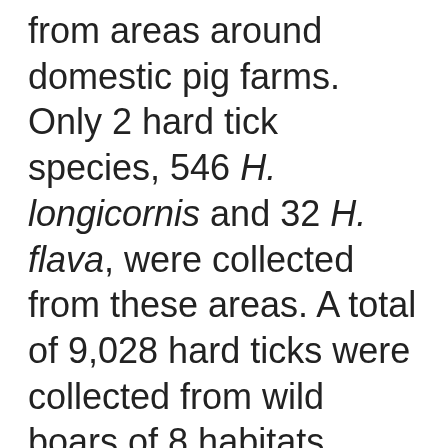from areas around domestic pig farms. Only 2 hard tick species, 546 H. longicornis and 32 H. flava, were collected from these areas. A total of 9,028 hard ticks were collected from wild boars of 8 habitats, including 4,347 H. longicornis, 4,172 H. flava, 508 I. nipponensis, and 1 I. turdus. A. testudinarium was collected only from wild